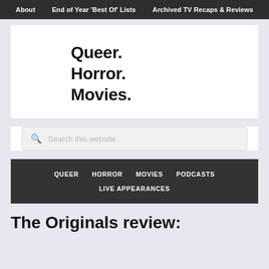About | End of Year 'Best Of' Lists | Archived TV Recaps & Reviews
Queer.
Horror.
Movies.
Search this website
QUEER  HORROR  MOVIES  PODCASTS  LIVE APPEARANCES
The Originals review: